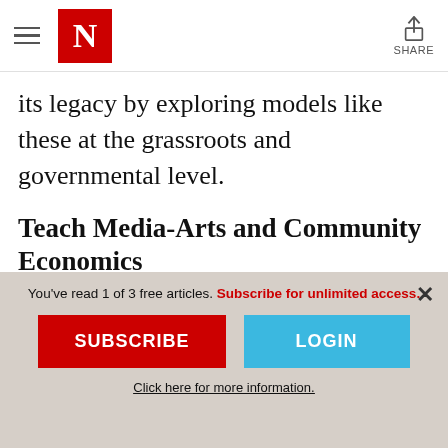The Nation — Navigation header with logo and share button
its legacy by exploring models like these at the grassroots and governmental level.
Teach Media-Arts and Community Economics
Barry Gordy started Motown Records with an $800 loan from his family. It went on to become the largest independent record label in the world before it was sold to MCA in
You've read 1 of 3 free articles. Subscribe for unlimited access.
SUBSCRIBE
LOGIN
Click here for more information.